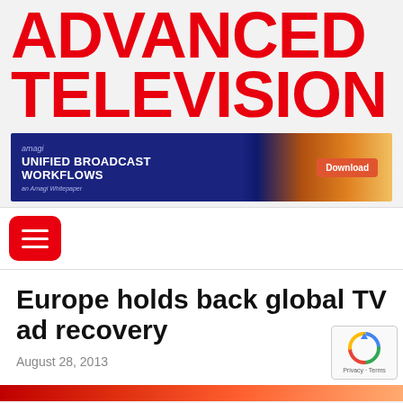ADVANCED TELEVISION
[Figure (infographic): Amagi advertisement banner: 'UNIFIED BROADCAST WORKFLOWS an Amagi Whitepaper' with Download button, blue and orange city background]
[Figure (other): Red rounded hamburger menu button with three white horizontal lines]
Europe holds back global TV ad recovery
August 28, 2013
[Figure (other): Google reCAPTCHA badge showing the recycling-arrow logo and Privacy · Terms text]